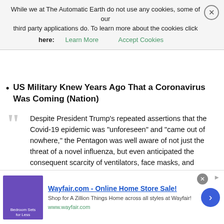While we at The Automatic Earth do not use any cookies, some of our third party applications do. To learn more about the cookies click here: Learn More   Accept Cookies
So where are they? Note: Anybody know(I was coming. Just the timing.
US Military Knew Years Ago That a Coronavirus Was Coming (Nation)
Despite President Trump's repeated assertions that the Covid-19 epidemic was “unforeseen” and “came out of nowhere,” the Pentagon was well aware of not just the threat of a novel influenza, but even anticipated the consequent scarcity of ventilators, face masks, and hospital beds, according to a 2017 Pentagon plan obtained by The Nation. “The most likely and significant threat is a novel respiratory disease, particularly a novel influenza disease,” the military plan states. Covid-19 is a respiratory disease caused by the novel (meaning new to humans) coronavirus. The document specifically references coronavirus on several occasions, in one instant saying, “Coronavirus infections [are] common around the world.”
[Figure (infographic): Wayfair.com advertisement banner: Online Home Store Sale! with purple bedroom image, blue arrow button, and green URL www.wayfair.com]